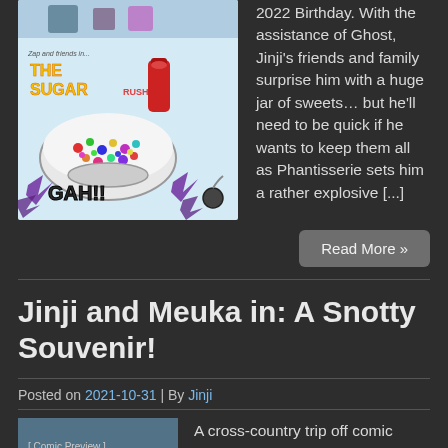[Figure (illustration): Comic book style illustration titled 'The Sugar Rush!' featuring a large bowl of colorful candy/sweets with 'GAH!!' text and purple explosion effects]
2022 Birthday. With the assistance of Ghost, Jinji's friends and family surprise him with a huge jar of sweets… but he'll need to be quick if he wants to keep them all as Phantisserie sets him a rather explosive [...]
Read More »
Jinji and Meuka in: A Snotty Souvenir!
Posted on 2021-10-31 | By Jinji
[Figure (illustration): Partial comic illustration at the bottom of the page]
A cross-country trip off comic preview text